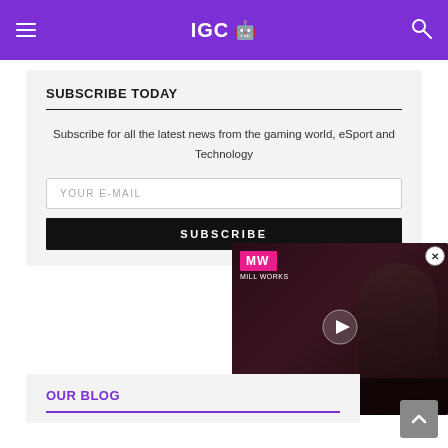IGC
SUBSCRIBE TODAY
Subscribe for all the latest news from the gaming world, eSport and Technology
YOUR E-MAIL
SUBSCRIBE
[Figure (screenshot): Video overlay showing MW logo in pink, play button, and Dead Island 2 Release Date text on dark background with person wearing sunglasses]
OUR BLOG